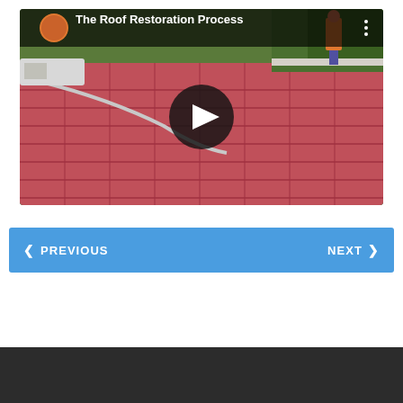[Figure (screenshot): YouTube video embed showing 'The Roof Restoration Process' — a red tiled roof with workers and a garden background, with a YouTube play button overlay and channel icon]
< PREVIOUS   NEXT >